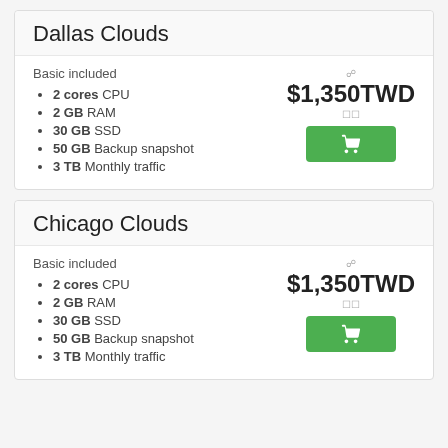Dallas Clouds
Basic included
2 cores CPU
2 GB RAM
30 GB SSD
50 GB Backup snapshot
3 TB Monthly traffic
$1,350TWD
Chicago Clouds
Basic included
2 cores CPU
2 GB RAM
30 GB SSD
50 GB Backup snapshot
3 TB Monthly traffic
$1,350TWD